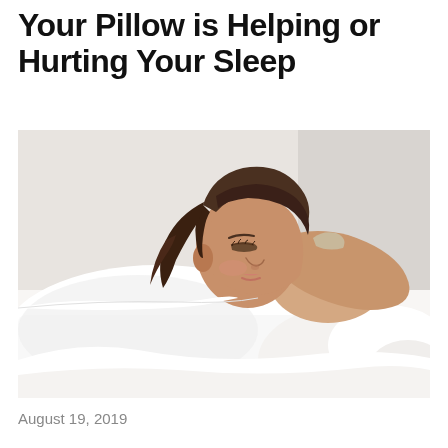Your Pillow is Helping or Hurting Your Sleep
[Figure (photo): A woman with brown hair sleeping on a white pillow, lying on her side in a white bed. The background is soft and white/light colored. She appears peaceful with her eyes closed.]
August 19, 2019